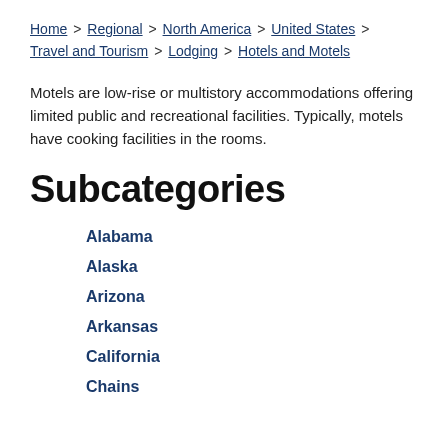Home > Regional > North America > United States > Travel and Tourism > Lodging > Hotels and Motels
Motels are low-rise or multistory accommodations offering limited public and recreational facilities. Typically, motels have cooking facilities in the rooms.
Subcategories
Alabama
Alaska
Arizona
Arkansas
California
Chains